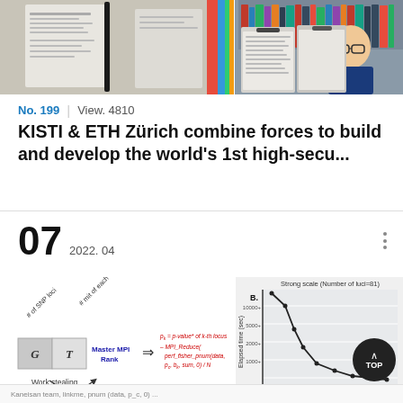[Figure (photo): Two photos side by side: left shows a person holding documents with colorful stripes in background; right shows a smiling man with glasses holding clipboards with documents in front of bookshelves.]
No. 199  |  View. 4810
KISTI & ETH Zürich combine forces to build and develop the world's 1st high-secu...
07  2022. 04
[Figure (schematic): Diagram showing parallel computing workflow: G and T matrices, Master MPI Rank, work stealing, with annotations about p_k = p-value* of k-th locus, MPI_Reduce, perf_fisher_pnum(data, p_c, b_k, sum, 0)/N. Labels: # of SNP loci, # mit of each subject.]
[Figure (line-chart): Strong scale chart (Number of luci=81) showing Elapsed time (sec) vs number of processes. Line chart showing decreasing elapsed time as processes increase.]